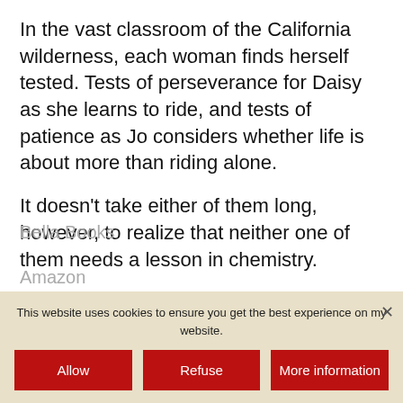In the vast classroom of the California wilderness, each woman finds herself tested. Tests of perseverance for Daisy as she learns to ride, and tests of patience as Jo considers whether life is about more than riding alone.
It doesn’t take either of them long, however, to realize that neither one of them needs a lesson in chemistry.
Available at:
This website uses cookies to ensure you get the best experience on my website.
Allow | Refuse | More information